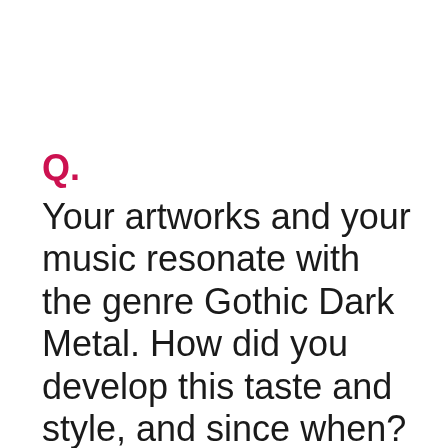Q.
Your artworks and your music resonate with the genre Gothic Dark Metal. How did you develop this taste and style, and since when?